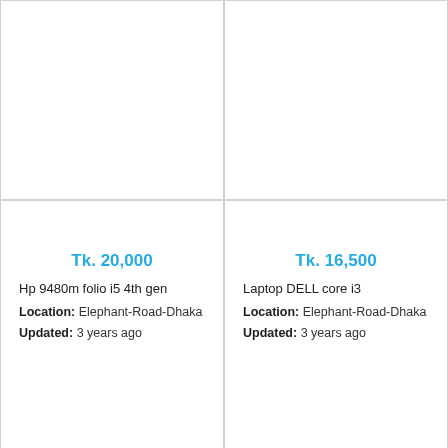Tk. 20,000
Hp 9480m folio i5 4th gen
Location: Elephant-Road-Dhaka
Updated: 3 years ago
Tk. 16,500
Laptop DELL core i3
Location: Elephant-Road-Dhaka
Updated: 3 years ago
Tk. 58,000
Dell Inspiron i5-5567 7th Gen Core i5 ..
Location: Elephant-Road-Dhaka
Updated: 3 years ago